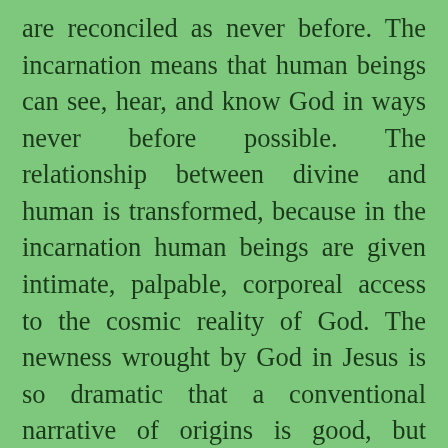are reconciled as never before. The incarnation means that human beings can see, hear, and know God in ways never before possible. The relationship between divine and human is transformed, because in the incarnation human beings are given intimate, palpable, corporeal access to the cosmic reality of God. The newness wrought by God in Jesus is so dramatic that a conventional narrative of origins is good, but insufficient. That is because the story of Jesus is not ultimately a story about Jesus; it is, in fact, the story of God. When one sees